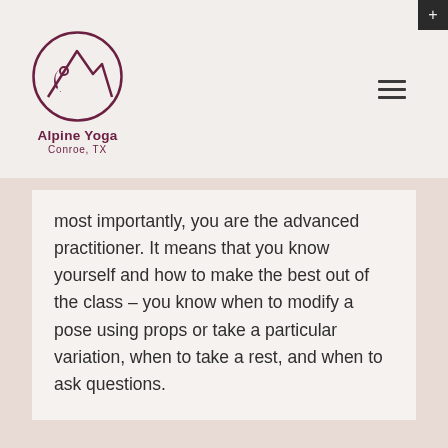[Figure (logo): Alpine Yoga Conroe TX logo — circular emblem with mountain and crescent shape in dark red/maroon, with text 'Alpine Yoga' in bold maroon and 'Conroe, TX' below in maroon]
most importantly, you are the advanced practitioner. It means that you know yourself and how to make the best out of the class – you know when to modify a pose using props or take a particular variation, when to take a rest, and when to ask questions.